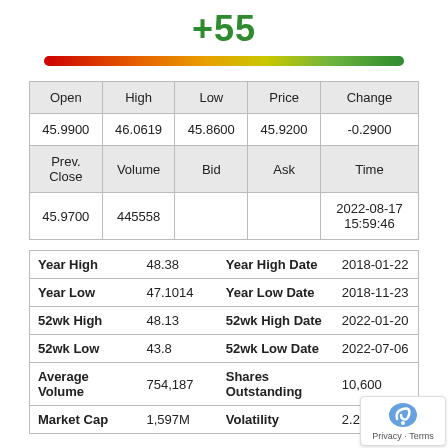+55
[Figure (infographic): Horizontal gauge bar ranging from red (left) to green (right), indicating a sentiment score of +55]
| Open | High | Low | Price | Change |
| --- | --- | --- | --- | --- |
| 45.9900 | 46.0619 | 45.8600 | 45.9200 | -0.2900 |
| Prev.
Close | Volume | Bid | Ask | Time |
| 45.9700 | 445558 |  |  | 2022-08-17
15:59:46 |
| Year High | 48.38 | Year High Date | 2018-01-22 |
| Year Low | 47.1014 | Year Low Date | 2018-11-23 |
| 52wk High | 48.13 | 52wk High Date | 2022-01-20 |
| 52wk Low | 43.8 | 52wk Low Date | 2022-07-06 |
| Average Volume | 754,187 | Shares Outstanding | 10,600 |
| Market Cap | 1,597M | Volatility | 2.29 |